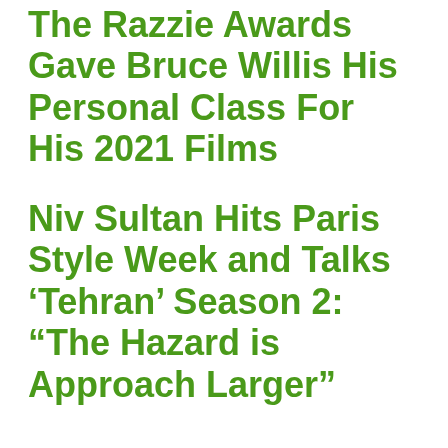The Razzie Awards Gave Bruce Willis His Personal Class For His 2021 Films
Niv Sultan Hits Paris Style Week and Talks ‘Tehran’ Season 2: “The Hazard is Approach Larger”